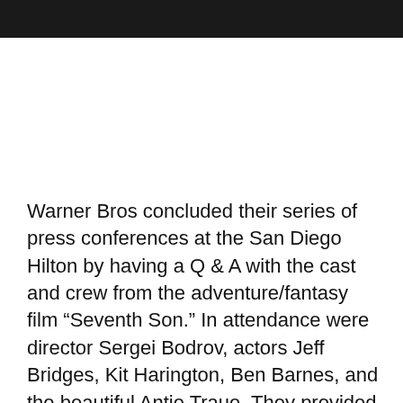Warner Bros concluded their series of press conferences at the San Diego Hilton by having a Q & A with the cast and crew from the adventure/fantasy film “Seventh Son.” In attendance were director Sergei Bodrov, actors Jeff Bridges, Kit Harington, Ben Barnes, and the beautiful Antje Traue. They provided some insight and passion behind the project, good vs. evil, the danger presented by